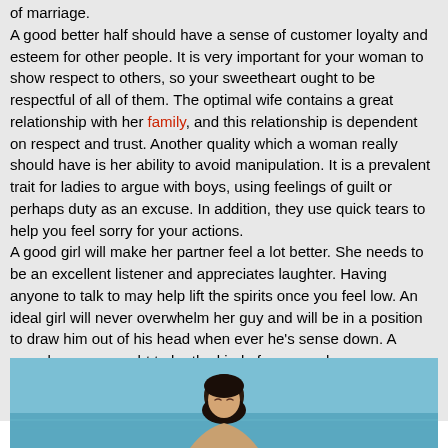of marriage. A good better half should have a sense of customer loyalty and esteem for other people. It is very important for your woman to show respect to others, so your sweetheart ought to be respectful of all of them. The optimal wife contains a great relationship with her family, and this relationship is dependent on respect and trust. Another quality which a woman really should have is her ability to avoid manipulation. It is a prevalent trait for ladies to argue with boys, using feelings of guilt or perhaps duty as an excuse. In addition, they use quick tears to help you feel sorry for your actions. A good girl will make her partner feel a lot better. She needs to be an excellent listener and appreciates laughter. Having anyone to talk to may help lift the spirits once you feel low. An ideal girl will never overwhelm her guy and will be in a position to draw him out of his head when ever he's sense down. A superb woman ought to be the kind of person who causes you to feel good, not really a victim of someone else. Therefore , what needs to be the qualities of an preferred wife?
[Figure (photo): A woman with dark hair sitting or standing near a body of water (ocean/lake), viewed from chest up, with eyes closed, against a blue water background.]